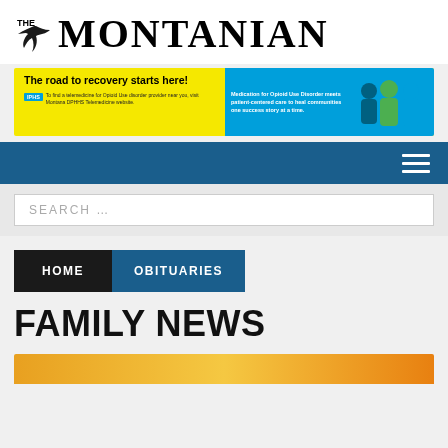[Figure (logo): The Montanian newspaper logo with bird icon]
[Figure (infographic): Yellow and teal advertisement banner: 'The road to recovery starts here!' for Medication for Opioid Use Disorder, IPHS logo, patient-centered care messaging]
[Figure (screenshot): Dark blue navigation bar with hamburger menu icon]
[Figure (screenshot): Search bar with placeholder text SEARCH ...]
HOME
OBITUARIES
FAMILY NEWS
[Figure (photo): Partially visible image at bottom of page, yellow/orange tones]